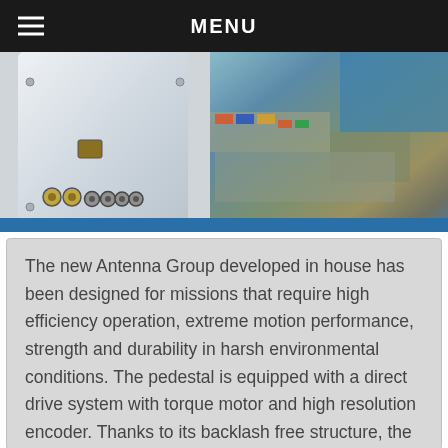MENU
[Figure (photo): Left: Close-up of a white antenna/pedestal unit showing connectors and ports on its base. Right: Aerial view of a port/harbor with shipping containers, vehicles, and blue water visible.]
The new Antenna Group developed in house has been designed for missions that require high efficiency operation, extreme motion performance, strength and durability in harsh environmental conditions. The pedestal is equipped with a direct drive system with torque motor and high resolution encoder. Thanks to its backlash free structure, the